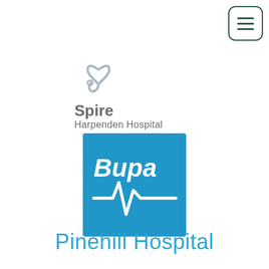[Figure (logo): Hamburger menu button: three horizontal lines inside a rounded square border, dark green color, top-right corner]
[Figure (logo): Spire Harpenden Hospital logo: gray heart-stethoscope icon above the text 'Spire' in bold gray and 'Harpenden Hospital' in lighter gray]
[Figure (logo): Bupa logo: blue square with 'Bupa' text and a heartbeat/ECG line in white]
Pinehill Hospital